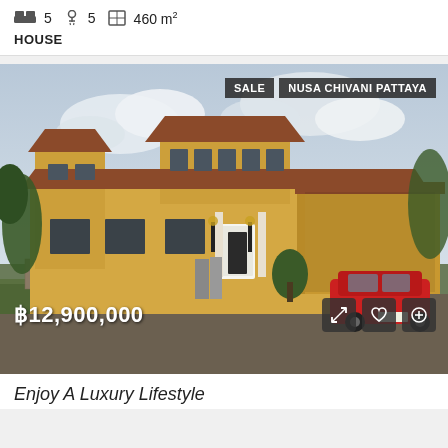5 beds  5 baths  460 m²
HOUSE
[Figure (photo): Exterior photo of a large yellow Spanish-style luxury house with terracotta roof tiles, stone wall, carport with red car, cloudy sky. Tagged SALE and NUSA CHIVANI PATTAYA. Price overlay ฿12,900,000.]
Enjoy A Luxury Lifestyle